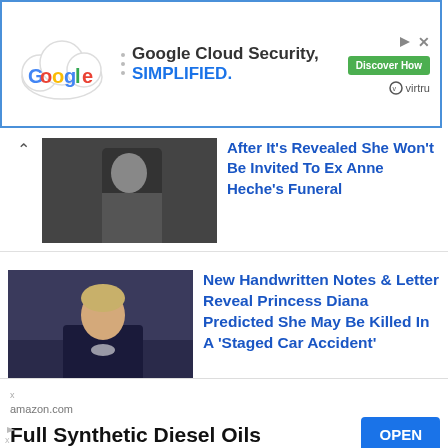[Figure (screenshot): Google Cloud Security ad banner with cloud logo, 'Google Cloud Security. SIMPLIFIED.' text, Discover How button, and Virtru logo]
After It's Revealed She Won't Be Invited To Ex Anne Heche's Funeral
[Figure (photo): Dark photo thumbnail for article about Anne Heche]
New Handwritten Notes & Letter Reveal Princess Diana Predicted She May Be Killed In A 'Staged Car Accident'
[Figure (photo): Photo of Princess Diana]
[Figure (screenshot): Amazon.com ad for Full Synthetic Diesel Oils with OPEN button]